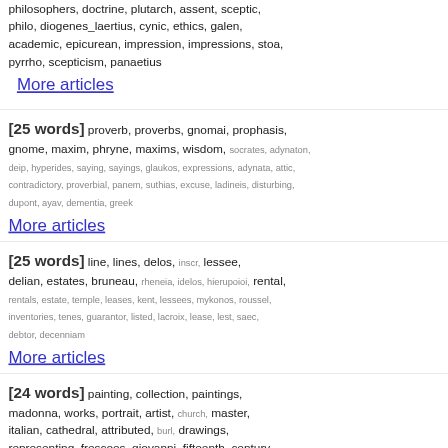philosophers, doctrine, plutarch, assent, sceptic, philo, diogenes_laertius, cynic, ethics, galen, academic, epicurean, impression, impressions, stoa, pyrrho, scepticism, panaetius
More articles
[25 words] proverb, proverbs, gnomai, prophasis, gnome, maxim, phryne, maxims, wisdom, socrates, adynaton, deip, hyperides, saying, sayings, glaukos, expressions, adynata, attic, contradictory, proverbial, panem, suthias, excuse, ladineis, disturbing, dupont, ayav, dementia, greek
More articles
[25 words] line, lines, delos, inscr, lessee, delian, estates, bruneau, rheneia, idelos, hierupoioi, rental, rentals, estate, temple, leases, kent, lessees, mykonos, roussel, inventories, tenes, guarantor, listed, lacroix, lease, lest, saec, debtor, decenniam
More articles
[24 words] painting, collection, paintings, madonna, works, portrait, artist, church, master, italian, cathedral, attributed, burl, drawings, representing, frescoes, giovanni, fifteenth_century, florence, pictures, influence, early, virgin, painted,